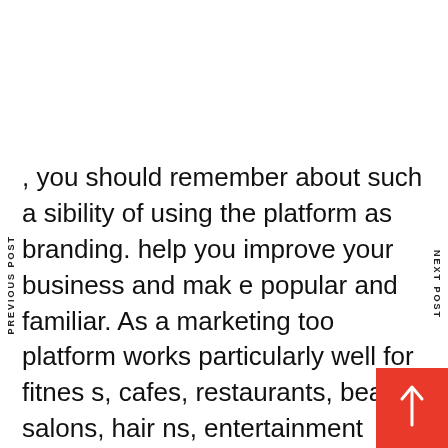, you should remember about such a sibility of using the platform as branding. help you improve your business and mak e popular and familiar. As a marketing too platform works particularly well for fitnes s, cafes, restaurants, beauty salons, hair ns, entertainment clubs, deliveries and ta However, professionals use such platforms not only in the service sector. So, huge online stores get many benefits from such web development too. For example, an indicator of program
PREVIOUS POST
NEXT POST